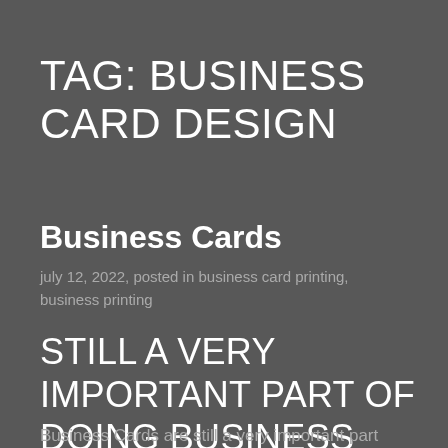TAG: BUSINESS CARD DESIGN
Business Cards
july 12, 2022, posted in business card printing, business printing
STILL A VERY IMPORTANT PART OF DOING BUSINESS
Business Cards are still a very important part